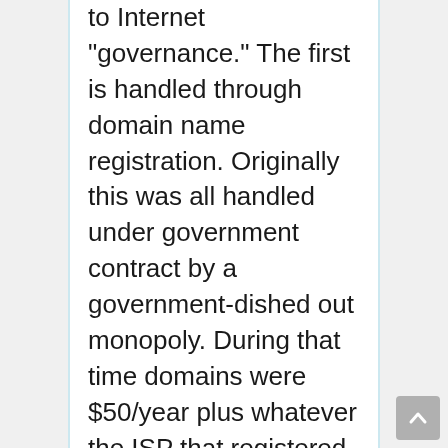to Internet "governance." The first is handled through domain name registration. Originally this was all handled under government contract by a government-dished out monopoly. During that time domains were $50/year plus whatever the ISP that registered them for you and ran your DNS charged, and it often took days (instead of seconds now) to get a domain registered. These were COM/NET/ORG/MIL/GOV/EDU and the country code domains; in the US that was .US. This changed through a quite-